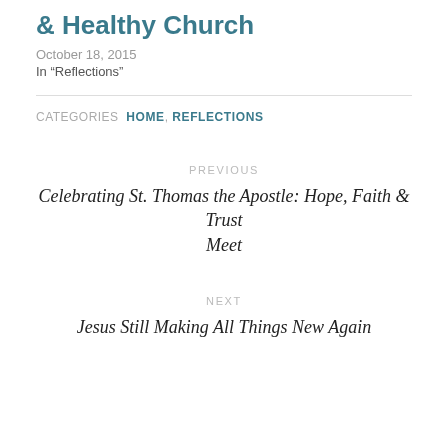& Healthy Church
October 18, 2015
In "Reflections"
CATEGORIES  HOME, REFLECTIONS
PREVIOUS
Celebrating St. Thomas the Apostle: Hope, Faith & Trust Meet
NEXT
Jesus Still Making All Things New Again